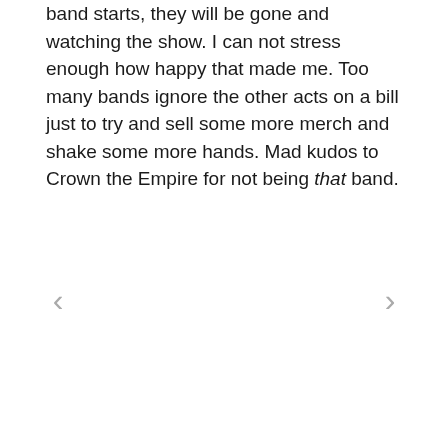band starts, they will be gone and watching the show. I can not stress enough how happy that made me. Too many bands ignore the other acts on a bill just to try and sell some more merch and shake some more hands. Mad kudos to Crown the Empire for not being that band.